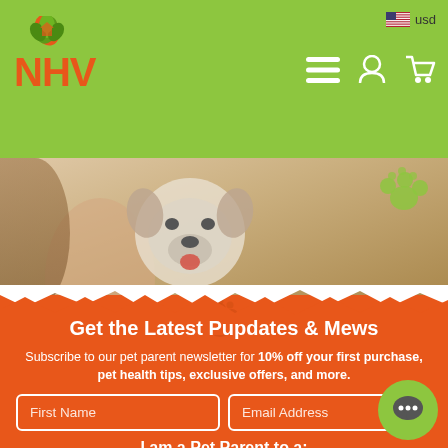NHV Natural Pet Products - usd
[Figure (screenshot): NHV logo with green leaf icon and orange NHV text on green header bar, with hamburger menu, user account icon, and shopping cart icon on the right side, and USD currency selector with US flag]
[Figure (photo): Photo of a bulldog with tongue out being held by a person with long hair, on a warm beige/tan background with green paw print icons in the top right corner and an orange paw print icon in the center]
Get the Latest Pupdates & Mews
Subscribe to our pet parent newsletter for 10% off your first purchase, pet health tips, exclusive offers, and more.
First Name | Email Address
I am a Pet Parent to a: